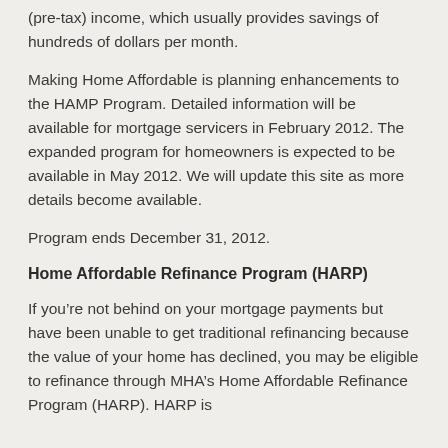(pre-tax) income, which usually provides savings of hundreds of dollars per month.
Making Home Affordable is planning enhancements to the HAMP Program. Detailed information will be available for mortgage servicers in February 2012. The expanded program for homeowners is expected to be available in May 2012. We will update this site as more details become available.
Program ends December 31, 2012.
Home Affordable Refinance Program (HARP)
If you’re not behind on your mortgage payments but have been unable to get traditional refinancing because the value of your home has declined, you may be eligible to refinance through MHA’s Home Affordable Refinance Program (HARP). HARP is